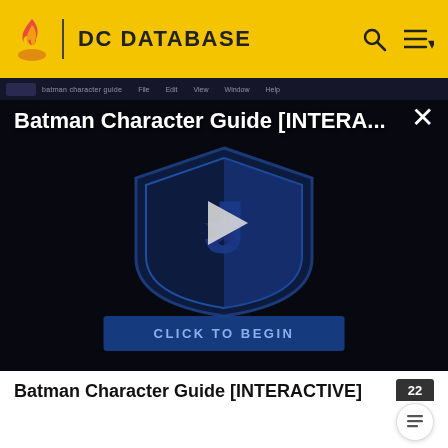DC DATABASE
[Figure (screenshot): Video thumbnail for Batman Character Guide [INTERACTIVE] showing a dark background with a Justice League shield logo in blue, a play button in the center, and a 'CLICK TO BEGIN' button at the bottom. The video title reads 'Batman Character Guide [INTERA...' at the top.]
Batman Character Guide [INTERACTIVE]
moon. When Earth comes into sight on the viewport, Kraak informs them that they are not bound for Batman's home planet, but for the Claw Asteroid, where he hid his loot. After they disembark, Batman and Robin are seized